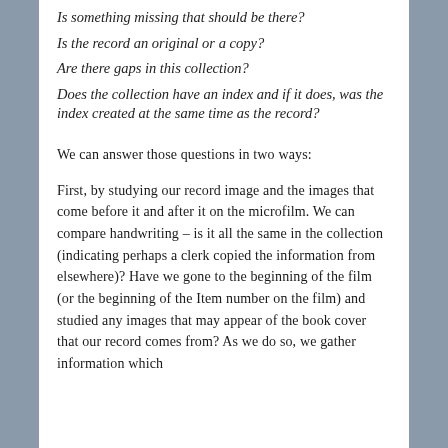Is something missing that should be there?
Is the record an original or a copy?
Are there gaps in this collection?
Does the collection have an index and if it does, was the index created at the same time as the record?
We can answer those questions in two ways:
First, by studying our record image and the images that come before it and after it on the microfilm. We can compare handwriting – is it all the same in the collection (indicating perhaps a clerk copied the information from elsewhere)? Have we gone to the beginning of the film (or the beginning of the Item number on the film) and studied any images that may appear of the book cover that our record comes from? As we do so, we gather information which